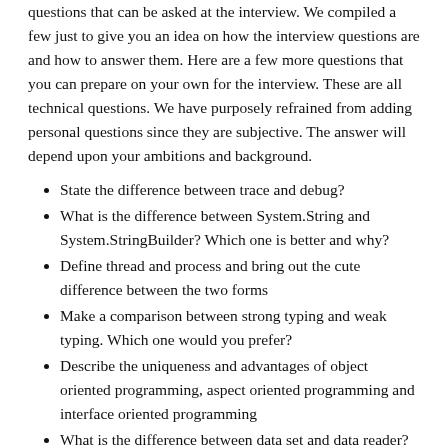questions that can be asked at the interview. We compiled a few just to give you an idea on how the interview questions are and how to answer them. Here are a few more questions that you can prepare on your own for the interview. These are all technical questions. We have purposely refrained from adding personal questions since they are subjective. The answer will depend upon your ambitions and background.
State the difference between trace and debug?
What is the difference between System.String and System.StringBuilder? Which one is better and why?
Define thread and process and bring out the cute difference between the two forms
Make a comparison between strong typing and weak typing. Which one would you prefer?
Describe the uniqueness and advantages of object oriented programming, aspect oriented programming and interface oriented programming
What is the difference between data set and data reader?
Give the names of the SQL Server database
What is meant by multiple inheritance?